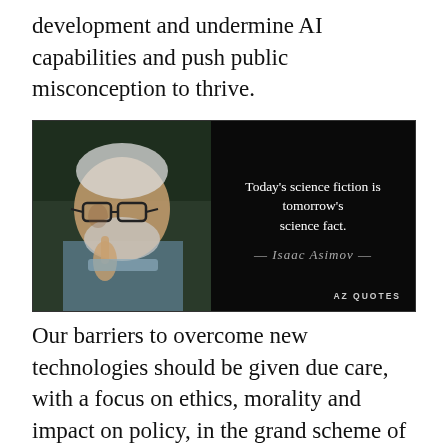development and undermine AI capabilities and push public misconception to thrive.
[Figure (photo): Photo of Isaac Asimov on left side with a black background on the right containing a quote: 'Today's science fiction is tomorrow's science fact.' attributed to Isaac Asimov, with AZ QUOTES branding at the bottom right.]
Our barriers to overcome new technologies should be given due care, with a focus on ethics, morality and impact on policy, in the grand scheme of things the more worrying factor is our future and what we're funding, a